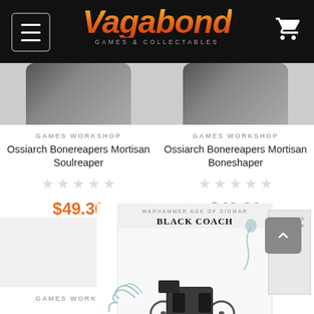Vagabond Games & Collectables
GAMES WORKSHOP
Ossiarch Bonereapers Mortisan Soulreaper
$49.30
GAMES WORKSHOP
Ossiarch Bonereapers Mortisan Boneshaper
$49.30
[Figure (photo): Black Coach miniature box set — Warhammer Age of Sigmar]
GAMES WORKSHOP
GAMES WORKSHOP
Black Coach